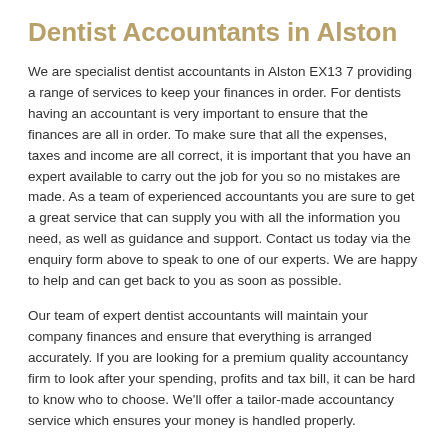Dentist Accountants in Alston
We are specialist dentist accountants in Alston EX13 7 providing a range of services to keep your finances in order. For dentists having an accountant is very important to ensure that the finances are all in order. To make sure that all the expenses, taxes and income are all correct, it is important that you have an expert available to carry out the job for you so no mistakes are made. As a team of experienced accountants you are sure to get a great service that can supply you with all the information you need, as well as guidance and support. Contact us today via the enquiry form above to speak to one of our experts. We are happy to help and can get back to you as soon as possible.
Our team of expert dentist accountants will maintain your company finances and ensure that everything is arranged accurately. If you are looking for a premium quality accountancy firm to look after your spending, profits and tax bill, it can be hard to know who to choose. We'll offer a tailor-made accountancy service which ensures your money is handled properly.